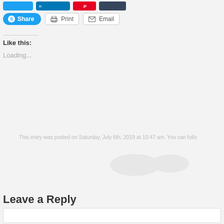[Figure (screenshot): Social media share buttons row: Twitter, LinkedIn, Pinterest, Tumblr buttons partially visible at top]
[Figure (screenshot): Share buttons row: Skype Share (blue pill), Print (outlined), Email (outlined)]
Like this:
Loading...
This entry was posted on Saturday, July 6th, 2019 at 10:47 am. You can follo
Leave a Reply